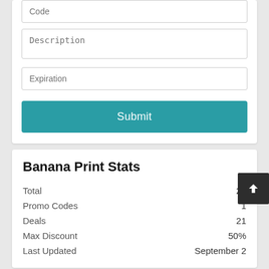Code
Description
Expiration
Submit
Banana Print Stats
|  |  |
| --- | --- |
| Total | 22 |
| Promo Codes | 1 |
| Deals | 21 |
| Max Discount | 50% |
| Last Updated | September 2 |
Banana Print Top Coupon Codes and Offers